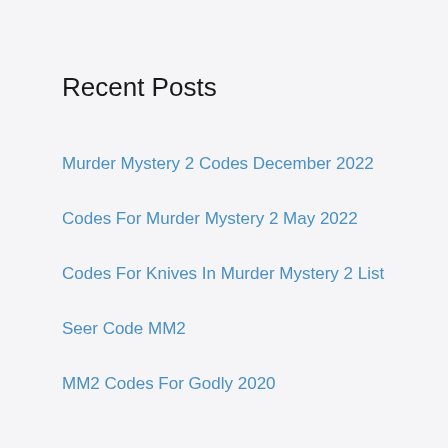Recent Posts
Murder Mystery 2 Codes December 2022
Codes For Murder Mystery 2 May 2022
Codes For Knives In Murder Mystery 2 List
Seer Code MM2
MM2 Codes For Godly 2020